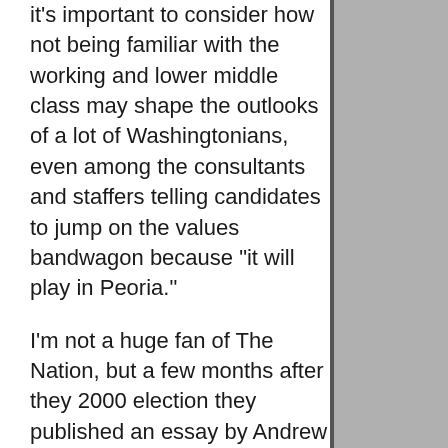it's important to consider how not being familiar with the working and lower middle class may shape the outlooks of a lot of Washingtonians, even among the consultants and staffers telling candidates to jump on the values bandwagon because "it will play in Peoria."
I'm not a huge fan of The Nation, but a few months after they 2000 election they published an essay by Andrew Levison called